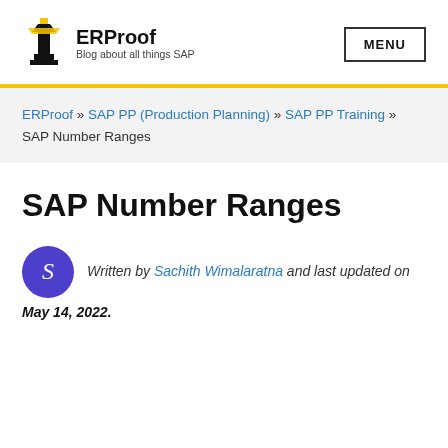ERProof — Blog about all things SAP | MENU
ERProof » SAP PP (Production Planning) » SAP PP Training » SAP Number Ranges
SAP Number Ranges
Written by Sachith Wimalaratna and last updated on May 14, 2022.